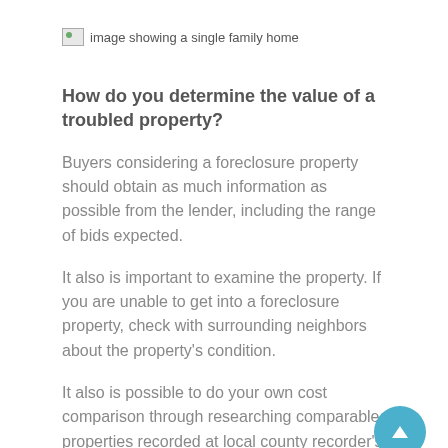[Figure (photo): Broken image placeholder with alt text: image showing a single family home]
How do you determine the value of a troubled property?
Buyers considering a foreclosure property should obtain as much information as possible from the lender, including the range of bids expected.
It also is important to examine the property. If you are unable to get into a foreclosure property, check with surrounding neighbors about the property's condition.
It also is possible to do your own cost comparison through researching comparable properties recorded at local county recorder's and assessor's offices, or through Internet sites specializing in property records.